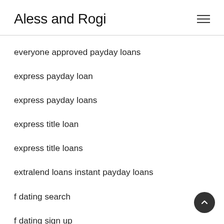Aless and Rogi
everyone approved payday loans
express payday loan
express payday loans
express title loan
express title loans
extralend loans instant payday loans
f dating search
f dating sign up